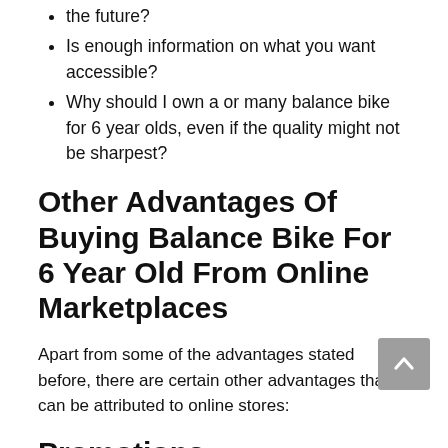the future?
Is enough information on what you want accessible?
Why should I own a or many balance bike for 6 year olds, even if the quality might not be sharpest?
Other Advantages Of Buying Balance Bike For 6 Year Old From Online Marketplaces
Apart from some of the advantages stated before, there are certain other advantages that can be attributed to online stores:
Promotions